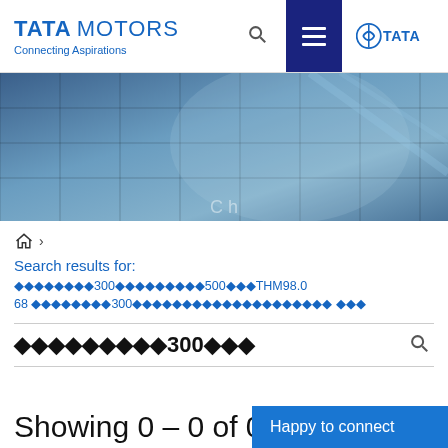TATA MOTORS — Connecting Aspirations
[Figure (photo): Hero banner image showing glass building facade with blue steel grid panels and reflections]
🏠 >
Search results for:
⬧⬧⬧⬧⬧⬧⬧⬧300⬧⬧⬧⬧⬧⬧⬧⬧500⬧⬧⬧THM98.0 68⬧⬧⬧⬧⬧⬧⬧⬧300⬧⬧⬧⬧⬧⬧⬧⬧⬧⬧⬧⬧⬧⬧⬧⬧⬧⬧⬧ ⬧⬧⬧
⬧⬧⬧⬧⬧⬧⬧⬧⬧300⬧⬧◄ 🔍
Showing 0 - 0 of 0
Happy to connect